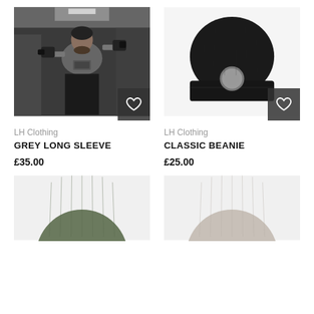[Figure (photo): Man in gym holding dumbbells wearing grey long sleeve top]
LH Clothing
GREY LONG SLEEVE
£35.00
[Figure (photo): Black classic beanie hat with circular logo patch]
LH Clothing
CLASSIC BEANIE
£25.00
[Figure (photo): Olive/green beanie hat, partially shown]
[Figure (photo): Light grey beanie hat, partially shown]